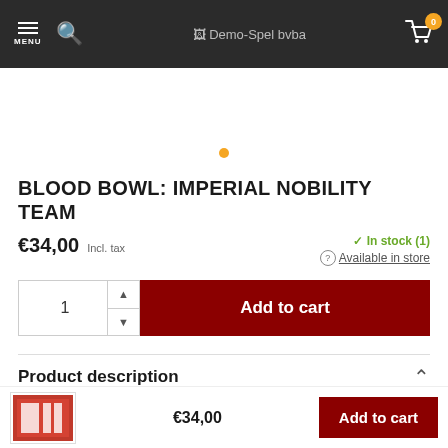MENU | Search | Demo-Spel bvba | Cart (0)
[Figure (other): Product image carousel placeholder with orange dot indicator]
BLOOD BOWL: IMPERIAL NOBILITY TEAM
€34,00 Incl. tax
In stock (1) Available in store
1 Add to cart
Product description
€34,00 Add to cart